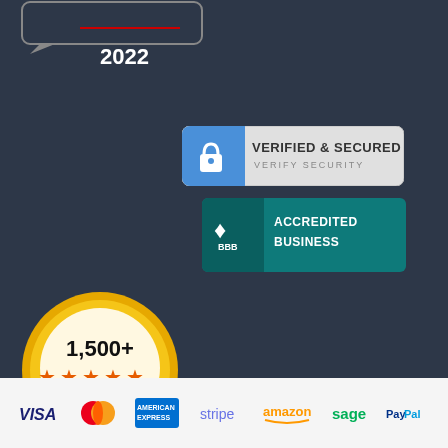2022
[Figure (logo): Verified & Secured / Verify Security badge with padlock icon]
[Figure (logo): BBB Accredited Business badge in teal]
[Figure (infographic): 1,500+ Five-star ratings Shopper Approved medal badge]
[Figure (logo): Payment method logos: VISA, MasterCard, American Express, Stripe, Amazon, Sage, PayPal]